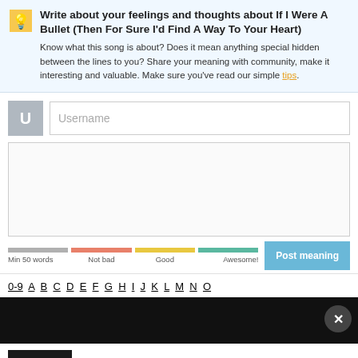Write about your feelings and thoughts about If I Were A Bullet (Then For Sure I'd Find A Way To Your Heart)
Know what this song is about? Does it mean anything special hidden between the lines to you? Share your meaning with community, make it interesting and valuable. Make sure you've read our simple tips.
[Figure (screenshot): Username input field with U avatar icon]
[Figure (screenshot): Text area for writing meaning, with progress bars labeled Min 50 words, Not bad, Good, Awesome! and a Post meaning button]
0-9 A B C D E F G H I J K L M N O
[Figure (screenshot): Black video player bar with close X button]
One Thousand Violins - If I Were A Bullet (Then For Sure I'd Find A Way To Your Heart)